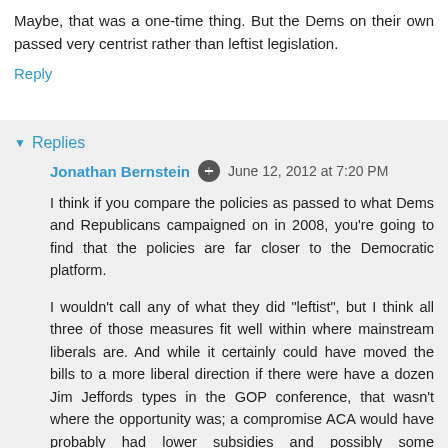Maybe, that was a one-time thing. But the Dems on their own passed very centrist rather than leftist legislation.
Reply
Replies
Jonathan Bernstein  June 12, 2012 at 7:20 PM
I think if you compare the policies as passed to what Dems and Republicans campaigned on in 2008, you're going to find that the policies are far closer to the Democratic platform.
I wouldn't call any of what they did "leftist", but I think all three of those measures fit well within where mainstream liberals are. And while it certainly could have moved the bills to a more liberal direction if there were have a dozen Jim Jeffords types in the GOP conference, that wasn't where the opportunity was; a compromise ACA would have probably had lower subsidies and possibly some (additional) giveaways for